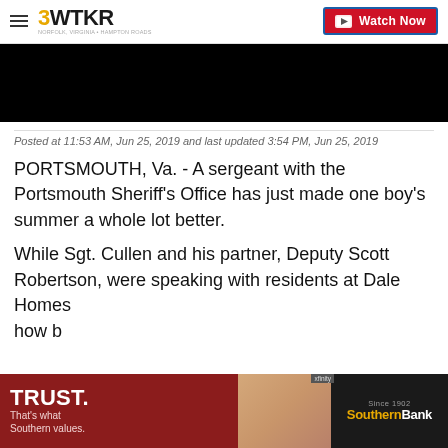3WTKR | Watch Now
[Figure (screenshot): Black video player block]
Posted at 11:53 AM, Jun 25, 2019 and last updated 3:54 PM, Jun 25, 2019
PORTSMOUTH, Va. - A sergeant with the Portsmouth Sheriff's Office has just made one boy's summer a whole lot better.
While Sgt. Cullen and his partner, Deputy Scott Robertson, were speaking with residents at Dale Homes...about how b...
[Figure (photo): Southern Bank advertisement banner with TRUST tagline]